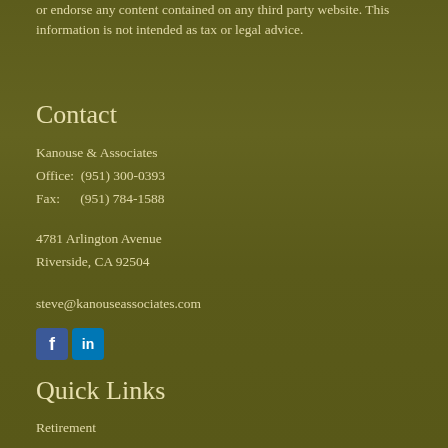or endorse any content contained on any third party website. This information is not intended as tax or legal advice.
Contact
Kanouse & Associates
Office:  (951) 300-0393
Fax:      (951) 784-1588
4781 Arlington Avenue
Riverside, CA 92504
steve@kanouseassociates.com
[Figure (logo): Facebook and LinkedIn social media icons]
Quick Links
Retirement
Investment
Estate
Insurance